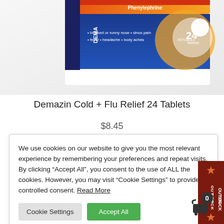[Figure (photo): Demazin Cold + Flu Relief 24 Tablets product box packaging showing blue and orange design with text: blocked or runny nose, sinus pain, fever, headache, body aches, 24 tablets]
Demazin Cold + Flu Relief 24 Tablets
$8.45
We use cookies on our website to give you the most relevant experience by remembering your preferences and repeat visits. By clicking “Accept All”, you consent to the use of ALL the cookies. However, you may visit "Cookie Settings" to provide a controlled consent. Read More
OUT OF STOCK